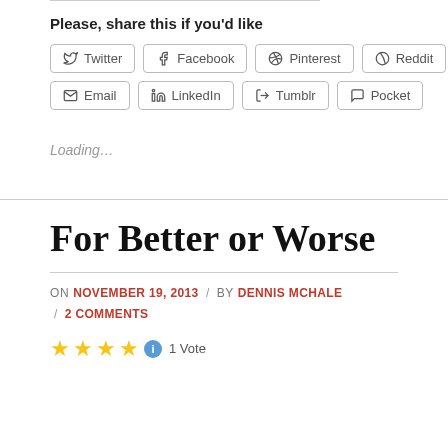Please, share this if you'd like
Twitter
Facebook
Pinterest
Reddit
Email
LinkedIn
Tumblr
Pocket
Loading...
For Better or Worse
ON NOVEMBER 19, 2013 / BY DENNIS MCHALE / 2 COMMENTS
[Figure (other): Star rating: 4 stars and info icon, 1 Vote]